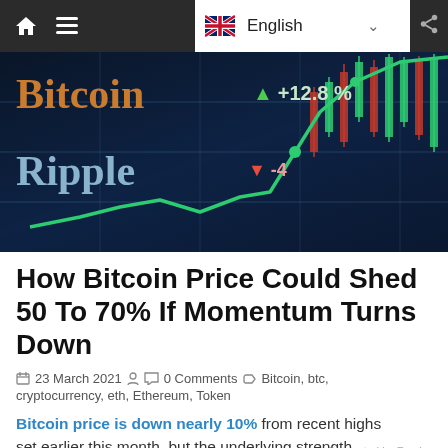Navigation bar with home, menu icons and English language selector
[Figure (photo): Cryptocurrency market display showing Bitcoin +12.8% and Ripple -4%, with a green ascending line chart overlaid on a dark blue financial data screen with candlestick charts]
How Bitcoin Price Could Shed 50 To 70% If Momentum Turns Down
23 March 2021  0 Comments  Bitcoin, btc, cryptocurrency, eth, Ethereum, Token
Bitcoin price is down nearly 10% from recent highs set earlier this month, but the underlying strength